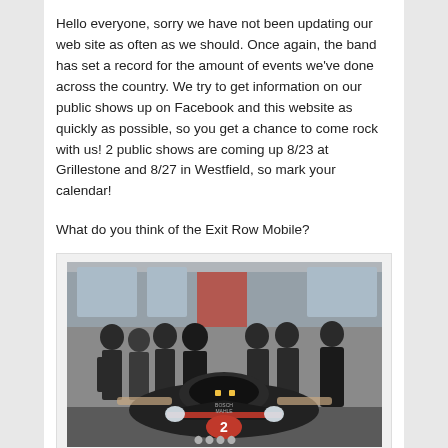Hello everyone, sorry we have not been updating our web site as often as we should. Once again, the band has set a record for the amount of events we've done across the country. We try to get information on our public shows up on Facebook and this website as quickly as possible, so you get a chance to come rock with us! 2 public shows are coming up 8/23 at Grillestone and 8/27 in Westfield, so mark your calendar!
What do you think of the Exit Row Mobile?
[Figure (photo): Group of people posing with a racing car (Audi R18, number 2, with Bosch and Mahle branding) in what appears to be an indoor showroom or event space.]